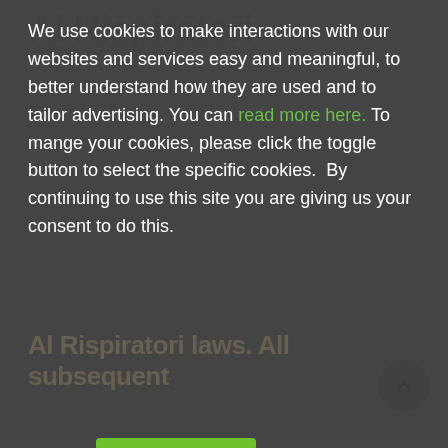We use cookies to make interactions with our websites and services easy and meaningful, to better understand how they are used and to tailor advertising. You can read more here. To mange your cookies, please click the toggle button to select the specific cookies.  By continuing to use this site you are giving us your consent to do this.
[Figure (other): Cookie consent banner with Accept all cookies (green) and Decline cookies (red/orange) buttons, and a slider/settings icon on the left.]
acting on its behalf is expressly qualified in its entirety by this notice.
Leave a Comment
Your email address will not be published. Required fields are marked *
Add Comment *